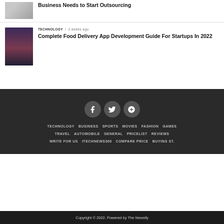[Figure (photo): Small thumbnail of a laptop on a desk]
Business Needs to Start Outsourcing
[Figure (photo): Woman looking at phone in dark setting]
TECHNOLOGY / 2 weeks ago
Complete Food Delivery App Development Guide For Startups In 2022
[Figure (infographic): Social media icons: Facebook, Twitter, Google+]
TECHNOLOGY
BUSINESS
SPORTS
MOVIES
FASHION
GAMES
TRAVEL
AUTOMOBILE
GENERAL
PRICELIST
REVIEWS
WRITE FOR US
ITECHNEWS360
COMPARE PRICE
BUYING ST.
Copyright © 2022. Powered by The Newsify